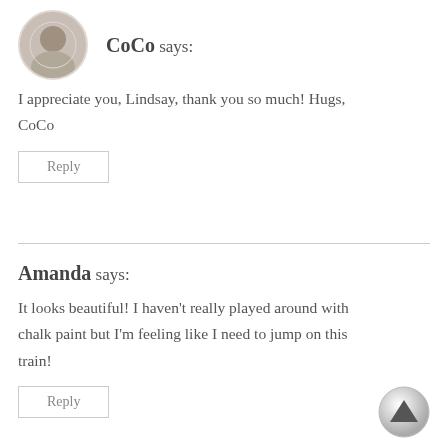[Figure (photo): Circular avatar photo of a person]
CoCo says:
I appreciate you, Lindsay, thank you so much! Hugs, CoCo
Reply
Amanda says:
It looks beautiful! I haven't really played around with chalk paint but I'm feeling like I need to jump on this train!
[Figure (illustration): Scroll-to-top button with upward arrow]
Reply